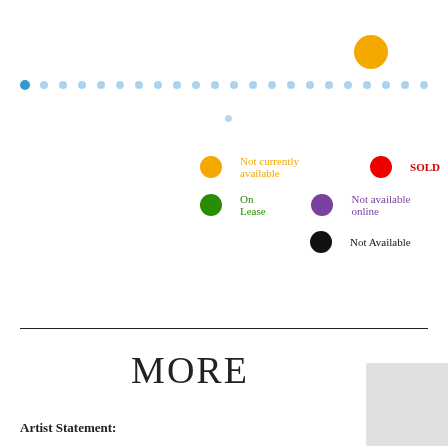[Figure (infographic): A legend/key showing colored dots with labels: orange dot = Not currently available, red dot = SOLD, green dot = On Lease, purple dot = Not available online, black dot = Not Available. Also shows a row of light-blue dots near top and a large orange dot upper right.]
MORE
Artist Statement: